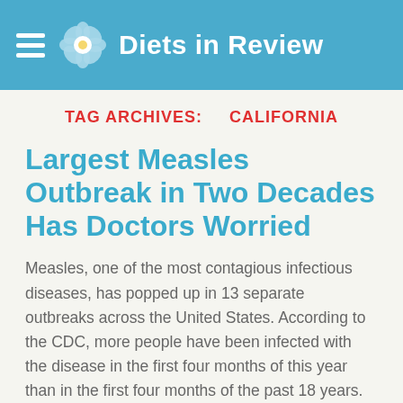Diets in Review
TAG ARCHIVES: CALIFORNIA
Largest Measles Outbreak in Two Decades Has Doctors Worried
Measles, one of the most contagious infectious diseases, has popped up in 13 separate outbreaks across the United States. According to the CDC, more people have been infected with the disease in the first four months of this year than in the first four months of the past 18 years.